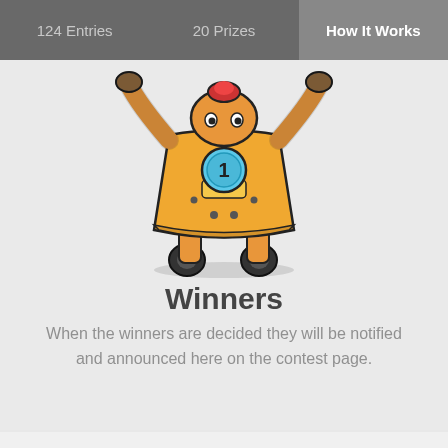124 Entries   20 Prizes   How It Works
[Figure (illustration): A cartoon robot character wearing a yellow dress/coat with a blue medal showing number 1, arms raised in victory, standing on wheels, viewed from the front. The character has a red head accessory.]
Winners
When the winners are decided they will be notified and announced here on the contest page.